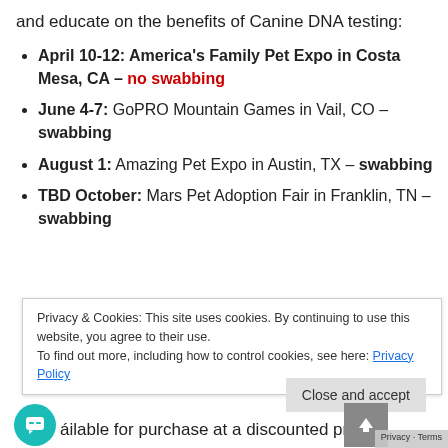and educate on the benefits of Canine DNA testing:
April 10-12: America's Family Pet Expo in Costa Mesa, CA – no swabbing
June 4-7: GoPRO Mountain Games in Vail, CO – swabbing
August 1: Amazing Pet Expo in Austin, TX – swabbing
TBD October: Mars Pet Adoption Fair in Franklin, TN – swabbing
Privacy & Cookies: This site uses cookies. By continuing to use this website, you agree to their use. To find out more, including how to control cookies, see here: Privacy Policy
Close and accept
ailable for purchase at a discounted price o
$49.99 (MSRP $84.99)